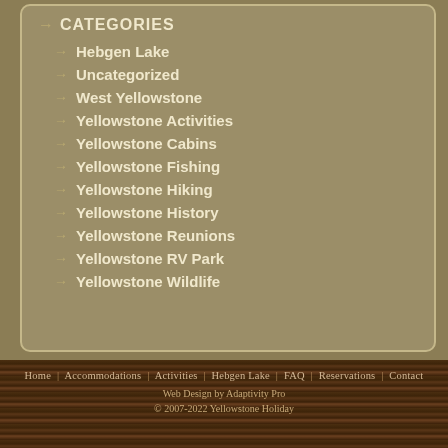CATEGORIES
Hebgen Lake
Uncategorized
West Yellowstone
Yellowstone Activities
Yellowstone Cabins
Yellowstone Fishing
Yellowstone Hiking
Yellowstone History
Yellowstone Reunions
Yellowstone RV Park
Yellowstone Wildlife
Home | Accommodations | Activities | Hebgen Lake | FAQ | Reservations | Contact
Web Design by Adaptivity Pro
© 2007-2022 Yellowstone Holiday